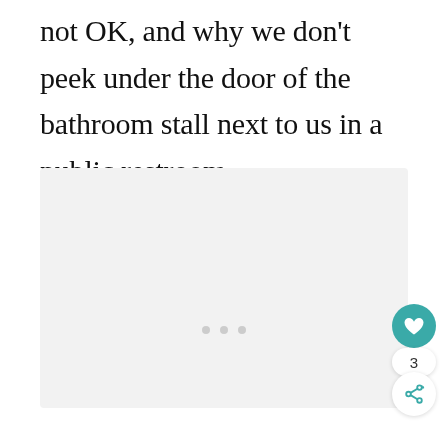not OK, and why we don't peek under the door of the bathroom stall next to us in a public restroom.
[Figure (other): Large light gray rectangular image placeholder area with three small gray dots centered near the bottom, indicating a multi-image carousel or loading state.]